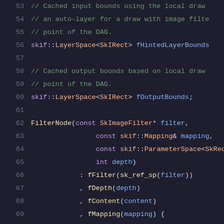[Figure (screenshot): Source code screenshot showing C++ code with syntax highlighting, lines 53-74, dark theme editor. Comments in green, types in purple/orange, identifiers in blue/white.]